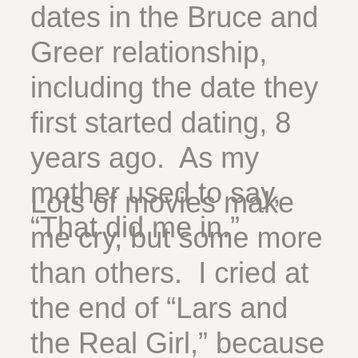dates in the Bruce and Greer relationship, including the date they first started dating, 8 years ago.  As my mother used to say, “That did me in.”
Lots of movies make me cry, but some more than others.  I cried at the end of “Lars and the Real Girl,” because I was devastated by the implication that everything would be all right for Lars, now that he had found a human girlfriend (as opposed to the life-sized doll with